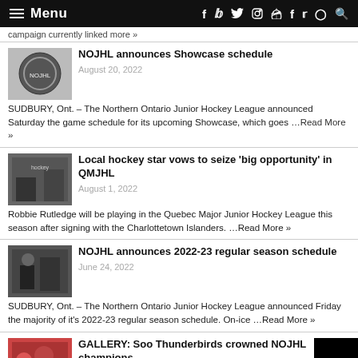Menu
campaign currently linked more »
NOJHL announces Showcase schedule
August 20, 2022
SUDBURY, Ont. – The Northern Ontario Junior Hockey League announced Saturday the game schedule for its upcoming Showcase, which goes …Read More »
Local hockey star vows to seize 'big opportunity' in QMJHL
August 1, 2022
Robbie Rutledge will be playing in the Quebec Major Junior Hockey League this season after signing with the Charlottetown Islanders. …Read More »
NOJHL announces 2022-23 regular season schedule
June 24, 2022
SUDBURY, Ont. – The Northern Ontario Junior Hockey League announced Friday the majority of it's 2022-23 regular season schedule. On-ice …Read More »
GALLERY: Soo Thunderbirds crowned NOJHL champions